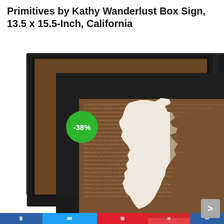Primitives by Kathy Wanderlust Box Sign, 13.5 x 15.5-Inch, California
[Figure (photo): Product photo of a wooden framed box sign featuring a white silhouette of California state against a dark wood background with small printed text. A green circular badge showing -38% discount overlays the top-left of the frame.]